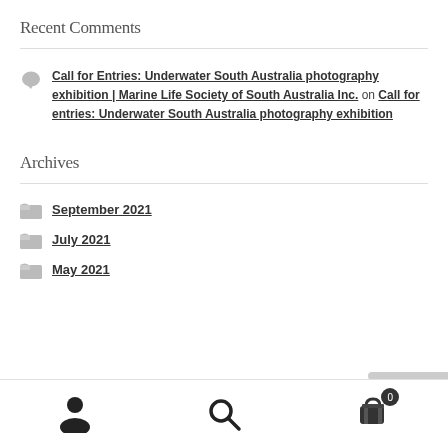Recent Comments
Call for Entries: Underwater South Australia photography exhibition | Marine Life Society of South Australia Inc. on Call for entries: Underwater South Australia photography exhibition
Archives
September 2021
July 2021
May 2021
User / Search / Cart (0)